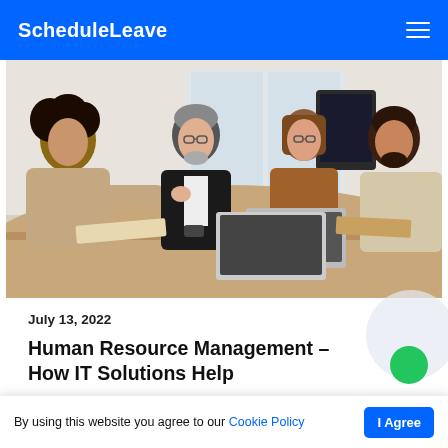ScheduleLeave
[Figure (photo): Four business professionals sitting around a conference table, two of them shaking hands across the table, with laptops and notebooks visible]
July 13, 2022
Human Resource Management – How IT Solutions Help
By using this website you agree to our Cookie Policy  I Agree